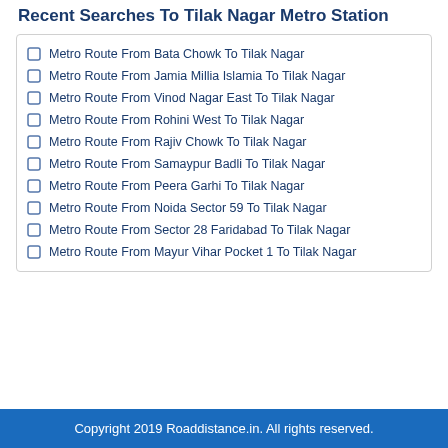Recent Searches To Tilak Nagar Metro Station
Metro Route From Bata Chowk To Tilak Nagar
Metro Route From Jamia Millia Islamia To Tilak Nagar
Metro Route From Vinod Nagar East To Tilak Nagar
Metro Route From Rohini West To Tilak Nagar
Metro Route From Rajiv Chowk To Tilak Nagar
Metro Route From Samaypur Badli To Tilak Nagar
Metro Route From Peera Garhi To Tilak Nagar
Metro Route From Noida Sector 59 To Tilak Nagar
Metro Route From Sector 28 Faridabad To Tilak Nagar
Metro Route From Mayur Vihar Pocket 1 To Tilak Nagar
Copyright 2019 Roaddistance.in. All rights reserved.